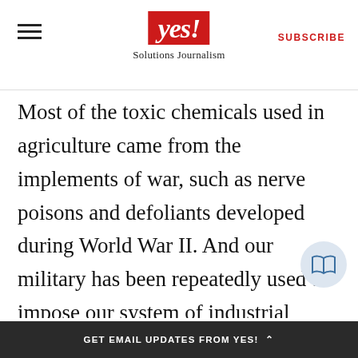yes! Solutions Journalism | SUBSCRIBE
Most of the toxic chemicals used in agriculture came from the implements of war, such as nerve poisons and defoliants developed during World War II. And our military has been repeatedly used to impose our system of industrial agriculture on other lands, depriving traditional farmers of their livelihoods and redirecting their natural resources to the use of U.S. business interests. American plantation owners used the military to force the monarchy of Hawai'i
GET EMAIL UPDATES FROM YES!